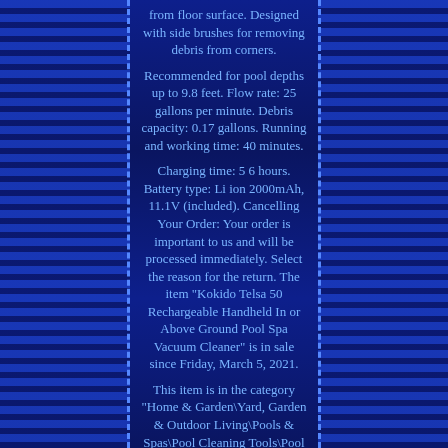from floor surface. Designed with side brushes for removing debris from corners.
Recommended for pool depths up to 9.8 feet. Flow rate: 25 gallons per minute. Debris capacity: 0.17 gallons. Running and working time: 40 minutes.
Charging time: 5 6 hours. Battery type: Li ion 2000mAh, 11.1V (included). Cancelling Your Order: Your order is important to us and will be processed immediately. Select the reason for the return. The item "Kokido Telsa 50 Rechargeable Handheld In or Above Ground Pool Spa Vacuum Cleaner" is in sale since Friday, March 5, 2021.
This item is in the category "Home & Garden\Yard, Garden & Outdoor Living\Pools & Spas\Pool Cleaning Tools\Pool Cleaners & Vacuums". The seller is "spreetail" and is located in Lincoln, Nebraska.
This item can be shipped to United States, Canada, United Kingdom, China, Mexico, Germany, Japan, Brazil, France, Australia, Russian federation, Denmark, Romania, Slovakia, Bulgaria, Czech republic, Finland, Hungary, Latvia, Lithuania, Malta, Estonia, Greece, Portugal, Cyprus, Slovenia, Sweden, South Korea, Taiwan, South africa, Thailand, Belgium, Hong Kong, Ireland